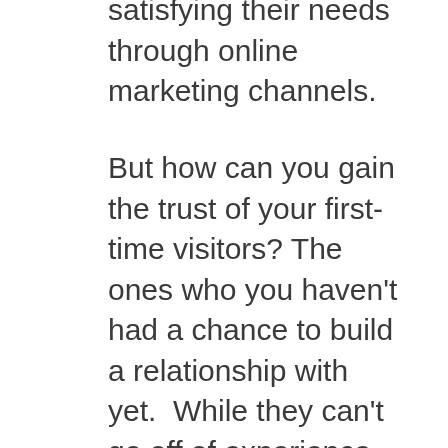satisfying their needs through online marketing channels.
But how can you gain the trust of your first-time visitors? The ones who you haven't had a chance to build a relationship with yet.  While they can't go off of experience, there are a few trust factors that you can implement which will make you seem more authoritative and trustworthy. These trust factors include customer reviews, published case studies, and trust badges.
Customer reviews let those first-time visitors hear about your business from another customer and not just from you.